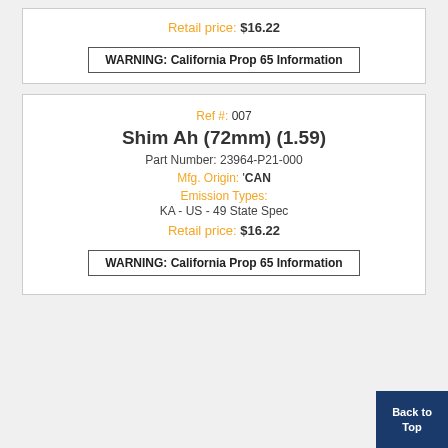Retail price: $16.22
WARNING: California Prop 65 Information
Ref #: 007
Shim Ah (72mm) (1.59)
Part Number: 23964-P21-000
Mfg. Origin: 'CAN
Emission Types:
KA - US - 49 State Spec
Retail price: $16.22
WARNING: California Prop 65 Information